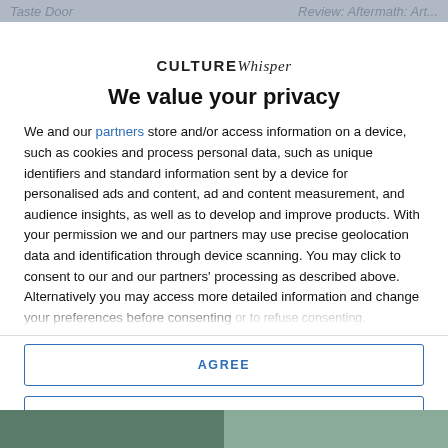Taste Door   |   Review: Aftermath: Art...
CULTURE Whisper
We value your privacy
We and our partners store and/or access information on a device, such as cookies and process personal data, such as unique identifiers and standard information sent by a device for personalised ads and content, ad and content measurement, and audience insights, as well as to develop and improve products. With your permission we and our partners may use precise geolocation data and identification through device scanning. You may click to consent to our and our partners' processing as described above. Alternatively you may access more detailed information and change your preferences before consenting or to refuse consenting.
AGREE
MORE OPTIONS